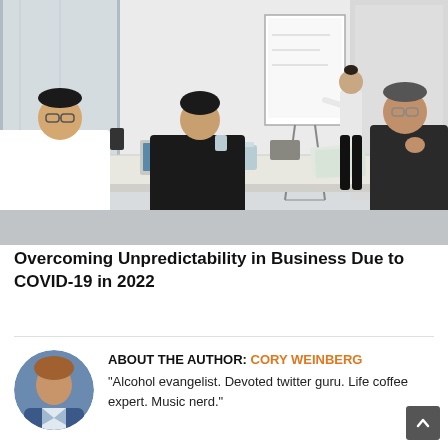[Figure (photo): Business meeting scene: several people seated around a white conference table, one person standing at a whiteboard/flipchart presenting, modern office with glass walls]
Overcoming Unpredictability in Business Due to COVID-19 in 2022
[Figure (photo): Circular headshot of Cory Weinberg, a man in a blue blazer]
ABOUT THE AUTHOR: CORY WEINBERG
"Alcohol evangelist. Devoted twitter guru. Life coffee expert. Music nerd."